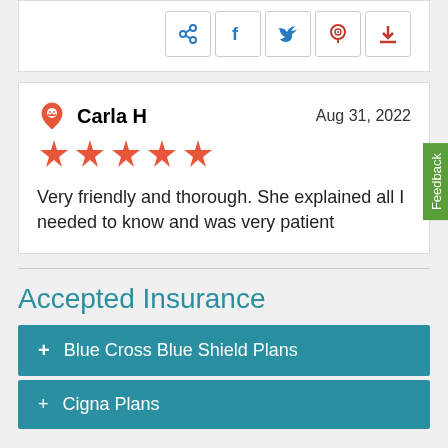[Figure (other): Social sharing buttons: link, Facebook, Twitter, Pinterest, download]
Carla H — Aug 31, 2022 — 5 stars — Very friendly and thorough. She explained all I needed to know and was very patient
Accepted Insurance
+ Blue Cross Blue Shield Plans
+ Cigna Plans